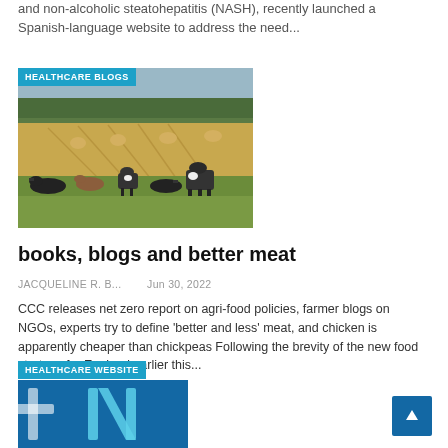and non-alcoholic steatohepatitis (NASH), recently launched a Spanish-language website to address the need...
[Figure (photo): Cattle/cows grazing in a harvested field with hay bales, under the HEALTHCARE BLOGS badge]
books, blogs and better meat
JACQUELINE R. B...   Jun 30, 2022
CCC releases net zero report on agri-food policies, farmer blogs on NGOs, experts try to define 'better and less' meat, and chicken is apparently cheaper than chickpeas Following the brevity of the new food strategy for England earlier this...
[Figure (photo): Partial image with HEALTHCARE WEBSITE badge and blue graphic elements visible at bottom of page]